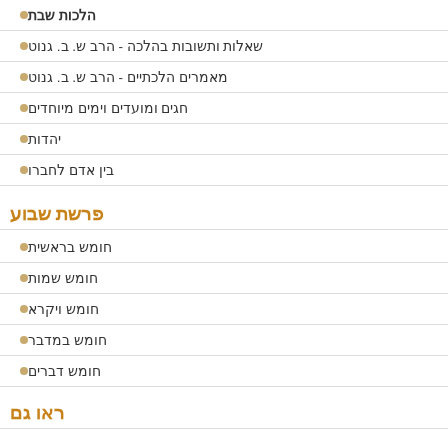הלכות שבת
שאלות ותשובות בהלכה - הרב ש. ב. גנוט
מאמרים הלכתיים - הרב ש. ב. גנוט
חגים ומועדים וימים מיוחדים
יהדות
בין אדם לחברו
פרשת שבוע
חומש בראשית
חומש שמות
חומש ויקרא
חומש במדבר
חומש דברים
ראו גם